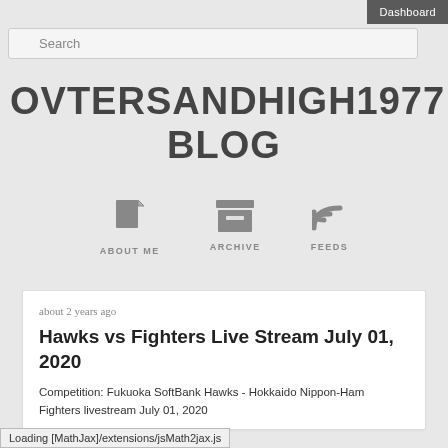Dashboard
Search
OVTERSANDHIGH1977 BLOG
[Figure (infographic): Navigation icons for About Me, Archive, and Feeds]
about 2 years ago
Hawks vs Fighters Live Stream July 01, 2020
Competition: Fukuoka SoftBank Hawks - Hokkaido Nippon-Ham Fighters livestream July 01, 2020
Loading [MathJax]/extensions/jsMath2jax.js